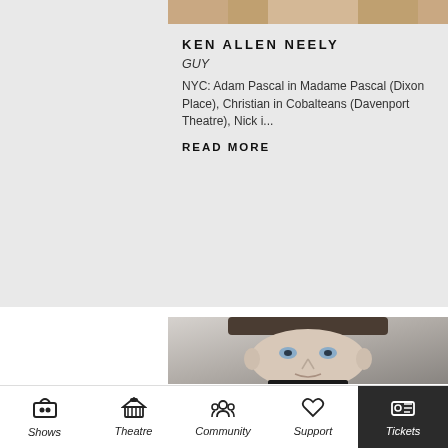[Figure (photo): Partial headshot photo of Ken Allen Neely at top of card]
KEN ALLEN NEELY
GUY
NYC: Adam Pascal in Madame Pascal (Dixon Place), Christian in Cobalteans (Davenport Theatre), Nick i...
READ MORE
[Figure (photo): Headshot photo of young male actor with brown hair and blue eyes, looking slightly upward]
Shows | Theatre | Community | Support | Tickets